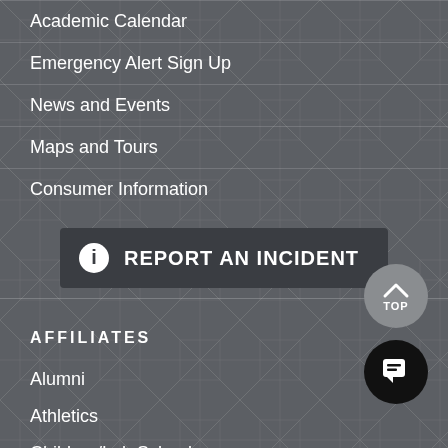Academic Calendar
Emergency Alert Sign Up
News and Events
Maps and Tours
Consumer Information
[Figure (other): Dark button with info icon and text REPORT AN INCIDENT]
AFFILIATES
Alumni
Athletics
Children/Lab School
Jobs at Northwest
Make a Gift